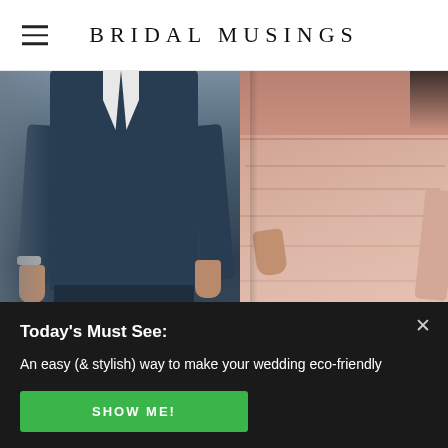BRIDAL MUSINGS
[Figure (photo): Wedding photo showing a groom in a blue suit on the left and a bridesmaid or bride in a blush/pink flowing dress on the right, cropped at mid-body level]
Today's Must See:
An easy (& stylish) way to make your wedding eco-friendly
SHOW ME!